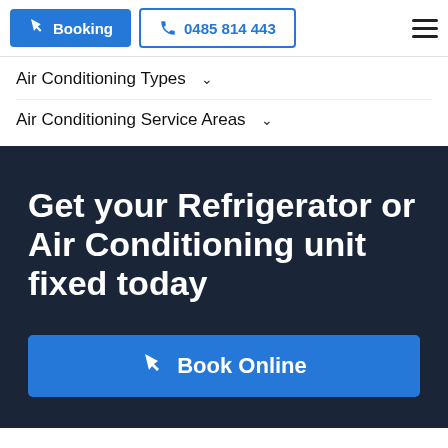Booking | 0485 814 443
Air Conditioning Types
Air Conditioning Service Areas
Get your Refrigerator or Air Conditioning unit fixed today
Book Online